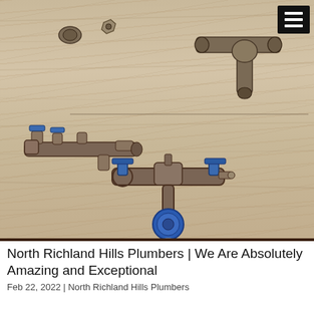[Figure (photo): Photo of old plumbing pipe fittings and valves with blue handles laid out on a light wood plywood surface. Several corroded brass/bronze pipe assemblies are arranged on the wood background. A dark hamburger menu icon (three horizontal white lines on black square) appears in the top-right corner.]
North Richland Hills Plumbers | We Are Absolutely Amazing and Exceptional
Feb 22, 2022 | North Richland Hills Plumbers